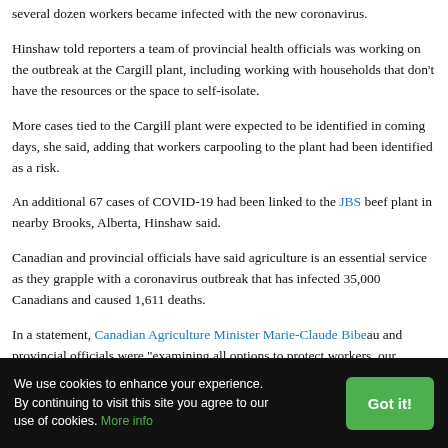several dozen workers became infected with the new coronavirus.
Hinshaw told reporters a team of provincial health officials was working on the outbreak at the Cargill plant, including working with households that don't have the resources or the space to self-isolate.
More cases tied to the Cargill plant were expected to be identified in coming days, she said, adding that workers carpooling to the plant had been identified as a risk.
An additional 67 cases of COVID-19 had been linked to the JBS beef plant in nearby Brooks, Alberta, Hinshaw said.
Canadian and provincial officials have said agriculture is an essential service as they grapple with a coronavirus outbreak that has infected 35 Canadians and caused 1,611 deaths.
In a statement, Canadian Agriculture Minister Marie-Claude Bibeau and provincial officials were "examining all options to protect workers, our farmers and processors and keep high-quality and affordable products available to Canadians."
We use cookies to enhance your experience. By continuing to visit this site you agree to our use of cookies. More info